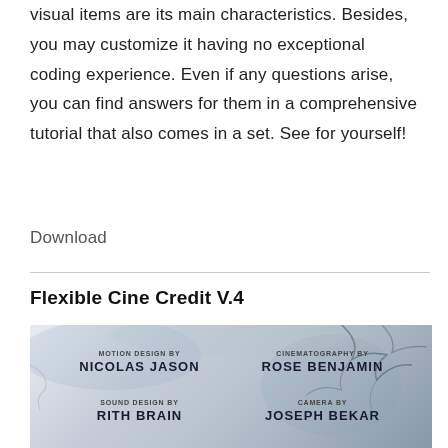visual items are its main characteristics. Besides, you may customize it having no exceptional coding experience. Even if any questions arise, you can find answers for them in a comprehensive tutorial that also comes in a set. See for yourself!
Download
Flexible Cine Credit V.4
[Figure (illustration): Cine credit template screenshot showing a marble/watercolor background with tree branch overlays. Credits displayed in two columns: Motion Design by Nicolas Jason, Cinematography by Rose Benjamin, Sound Design by Rith Brain, Camera by Joseph Bekar.]